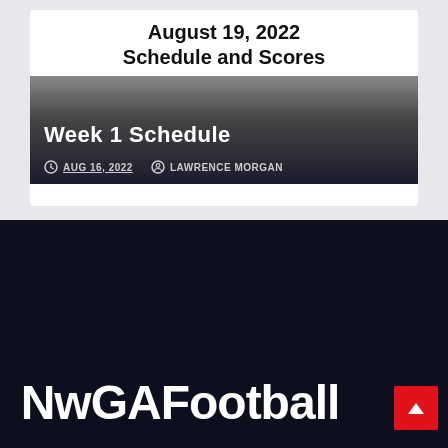August 19, 2022 Schedule and Scores
[Figure (screenshot): Article card thumbnail showing 'Week 1 Schedule' with a dark gradient overlay, dated AUG 16, 2022 by LAWRENCE MORGAN]
Week 1 Schedule
AUG 16, 2022   LAWRENCE MORGAN
NwGAFootball